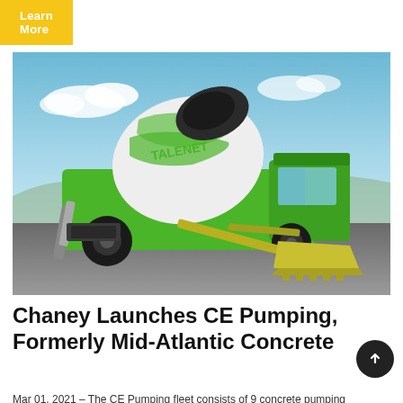Learn More
[Figure (photo): A green and white Talenet self-loading concrete mixer truck parked on a tarmac surface with a blue sky background. The mixer drum is raised and the front loading bucket is lowered.]
Chaney Launches CE Pumping, Formerly Mid-Atlantic Concrete
Mar 01, 2021 - The CE Pumping fleet consists of 9 concrete pumping